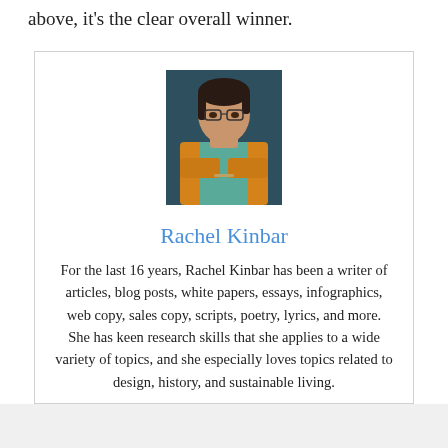above, it's the clear overall winner.
[Figure (photo): Portrait photo of Rachel Kinbar, a woman with short dark hair and glasses, wearing an orange cardigan over a teal top, arms crossed, against a dark teal background.]
Rachel Kinbar
For the last 16 years, Rachel Kinbar has been a writer of articles, blog posts, white papers, essays, infographics, web copy, sales copy, scripts, poetry, lyrics, and more. She has keen research skills that she applies to a wide variety of topics, and she especially loves topics related to design, history, and sustainable living.